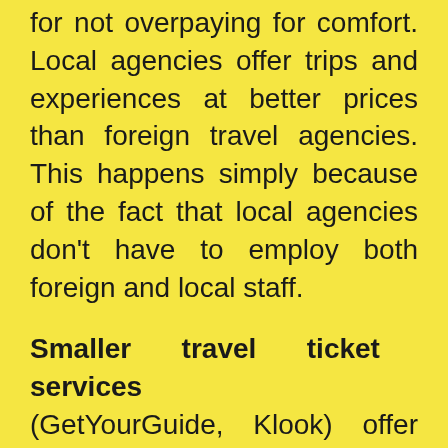for not overpaying for comfort. Local agencies offer trips and experiences at better prices than foreign travel agencies. This happens simply because of the fact that local agencies don't have to employ both foreign and local staff.
Smaller travel ticket services
(GetYourGuide, Klook) offer rarer and more intimate experiences than the conventional travel ticket services. These smaller travel ticket services either offer experiences that are not found in other platforms, or that are more intimate and